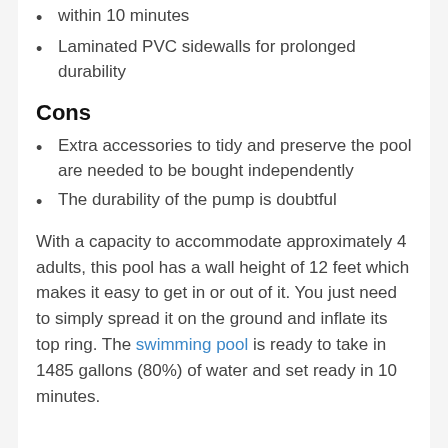within 10 minutes
Laminated PVC sidewalls for prolonged durability
Cons
Extra accessories to tidy and preserve the pool are needed to be bought independently
The durability of the pump is doubtful
With a capacity to accommodate approximately 4 adults, this pool has a wall height of 12 feet which makes it easy to get in or out of it. You just need to simply spread it on the ground and inflate its top ring. The swimming pool is ready to take in 1485 gallons (80%) of water and set ready in 10 minutes.